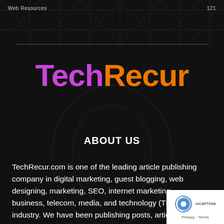Web Resources | 121
[Figure (logo): TechRecur logo with 'Tech' in purple and 'Recur' in orange, bold large font on dark background]
ABOUT US
TechRecur.com is one of the leading article publishing company in digital marketing, guest blogging, web designing, marketing, SEO, internet marketing, business, telecom, media, and technology (TMT) industry. We have been publishing posts, articles, news, research, press releases, reviews, interviews, etc. for over 10 years. We have been established to meet the day to day requirements of senior executives.